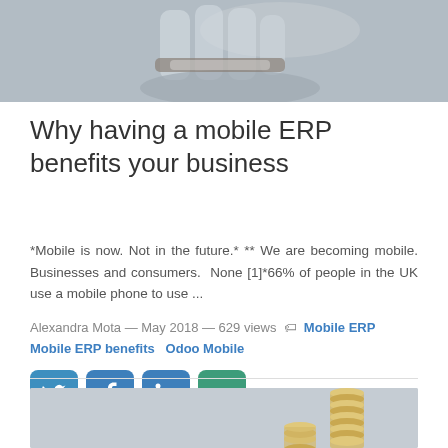[Figure (photo): Top portion of a photo showing a hand, partially cropped, likely pointing or gesturing, with a dark background]
Why having a mobile ERP benefits your business
*Mobile is now. Not in the future.* ** We are becoming mobile. Businesses and consumers.  None [1]*66% of people in the UK use a mobile phone to use ...
Alexandra Mota — May 2018 — 629 views  Mobile ERP   Mobile ERP benefits   Odoo Mobile
[Figure (other): Social media share buttons: Twitter, Facebook, LinkedIn, Google+]
[Figure (photo): Bottom photo showing stacked gold coins on a grey background]